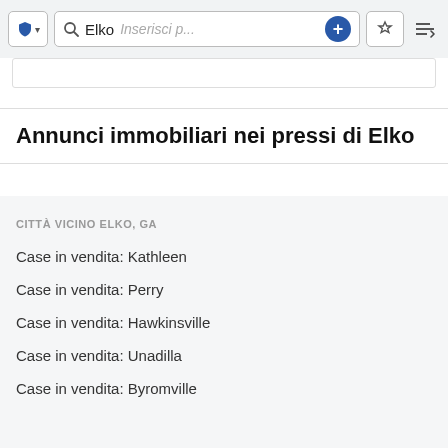[Figure (screenshot): App toolbar with shield icon button, search bar showing 'Elko' and placeholder 'Inserisci p...', plus button, star button, and sort button]
Annunci immobiliari nei pressi di Elko
CITTÀ VICINO ELKO, GA
Case in vendita: Kathleen
Case in vendita: Perry
Case in vendita: Hawkinsville
Case in vendita: Unadilla
Case in vendita: Byromville